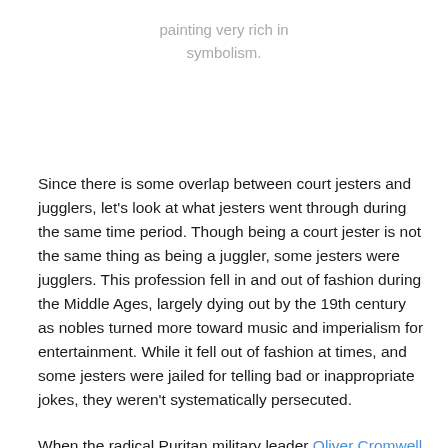painting very rich in symbolism.
Since there is some overlap between court jesters and jugglers, let's look at what jesters went through during the same time period. Though being a court jester is not the same thing as being a juggler, some jesters were jugglers. This profession fell in and out of fashion during the Middle Ages, largely dying out by the 19th century as nobles turned more toward music and imperialism for entertainment. While it fell out of fashion at times, and some jesters were jailed for telling bad or inappropriate jokes, they weren't systematically persecuted.
When the radical Puritan military leader Oliver Cromwell overthrew and executed King Charles II and became King